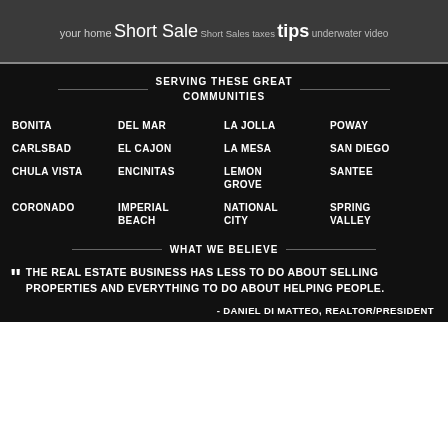your home Short Sale Short Sales taxes tips underwater video
SERVING THESE GREAT COMMUNITIES
BONITA
DEL MAR
LA JOLLA
POWAY
CARLSBAD
EL CAJON
LA MESA
SAN DIEGO
CHULA VISTA
ENCINITAS
LEMON GROVE
SANTEE
CORONADO
IMPERIAL BEACH
NATIONAL CITY
SPRING VALLEY
WHAT WE BELIEVE
THE REAL ESTATE BUSINESS HAS LESS TO DO ABOUT SELLING PROPERTIES AND EVERYTHING TO DO ABOUT HELPING PEOPLE.
- DANIEL DI MATTEO, REALTOR/PRESIDENT